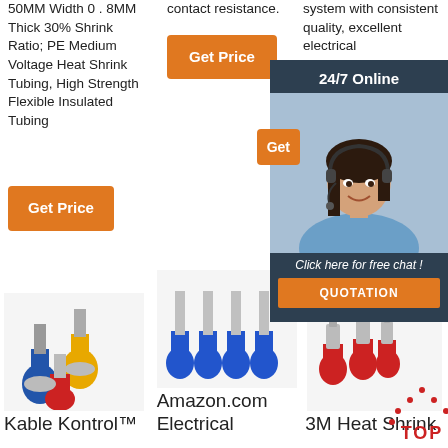50MM Width 0.8MM Thick 30% Shrink Ratio; PE Medium Voltage Heat Shrink Tubing, High Strength Flexible Insulated Tubing
contact resistance.
system with consistent quality, excellent electrical characteristics.
Get Price
Get Price
Get
[Figure (photo): Customer service woman with headset, 24/7 Online chat panel overlay with QUOTATION button]
24/7 Online
Click here for free chat !
QUOTATION
[Figure (photo): Kable Kontrol product - colored electrical wire terminals (blue, yellow, red)]
[Figure (photo): Amazon.com Electrical - blue pin wire terminals]
[Figure (photo): 3M Heat Shrink product - red wire terminals]
Kable Kontrol™
Amazon.com Electrical
3M Heat Shrink
[Figure (infographic): TOP icon - red dotted triangle with TOP text]